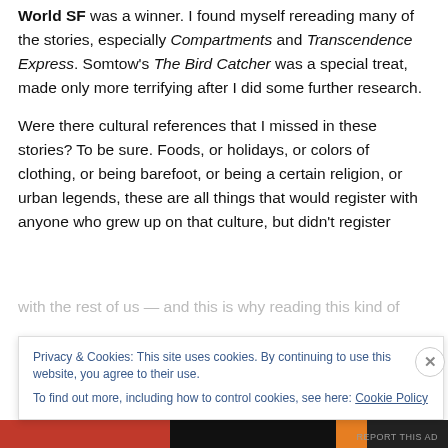World SF was a winner. I found myself rereading many of the stories, especially Compartments and Transcendence Express. Somtow's The Bird Catcher was a special treat, made only more terrifying after I did some further research.
Were there cultural references that I missed in these stories? To be sure. Foods, or holidays, or colors of clothing, or being barefoot, or being a certain religion, or urban legends, these are all things that would register with anyone who grew up on that culture, but didn't register
Privacy & Cookies: This site uses cookies. By continuing to use this website, you agree to their use. To find out more, including how to control cookies, see here: Cookie Policy
Close and accept